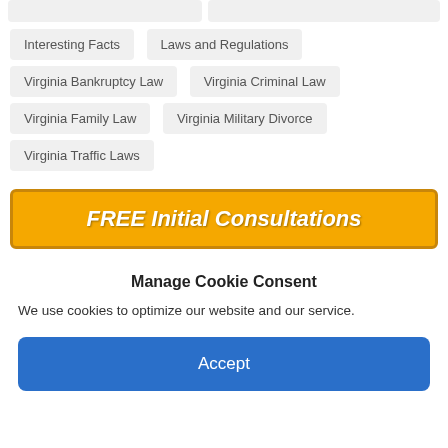Interesting Facts
Laws and Regulations
Virginia Bankruptcy Law
Virginia Criminal Law
Virginia Family Law
Virginia Military Divorce
Virginia Traffic Laws
[Figure (infographic): Orange banner button with white bold italic text: FREE Initial Consultations]
Manage Cookie Consent
We use cookies to optimize our website and our service.
Accept